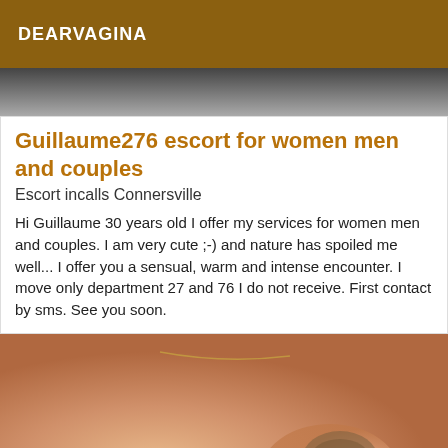DEARVAGINA
[Figure (photo): Partial photo at top, dark tones]
Guillaume276 escort for women men and couples
Escort incalls Connersville
Hi Guillaume 30 years old I offer my services for women men and couples. I am very cute ;-) and nature has spoiled me well... I offer you a sensual, warm and intense encounter. I move only department 27 and 76 I do not receive. First contact by sms. See you soon.
[Figure (photo): Close-up photo showing skin and a tattoo]